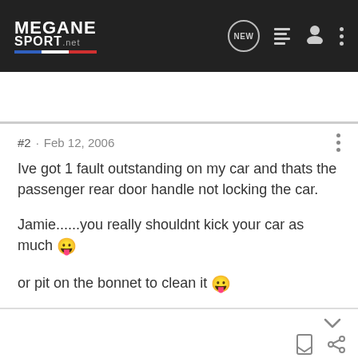MEGANE SPORT.net — navigation bar with logo, NEW, list, user, and menu icons
Search Community
#2 · Feb 12, 2006
Ive got 1 fault outstanding on my car and thats the passenger rear door handle not locking the car.

Jamie......you really shouldnt kick your car as much 😛

or pit on the bonnet to clean it 😛